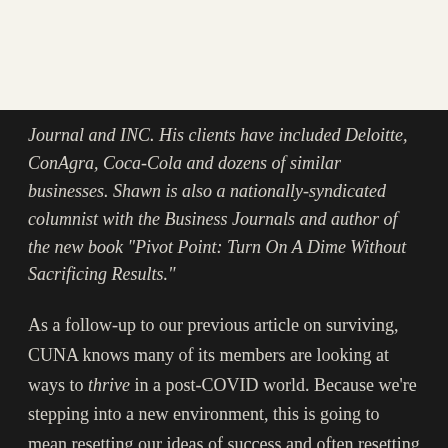Journal and INC. His clients have included Deloitte, ConAgra, Coca-Cola and dozens of similar businesses. Shawn is also a nationally-syndicated columnist with the Business Journals and author of the new book "Pivot Point: Turn On A Dime Without Sacrificing Results."
As a follow-up to our previous article on surviving, CUNA knows many of its members are looking at ways to thrive in a post-COVID world. Because we're stepping into a new environment, this is going to mean resetting our ideas of success and often resetting the ways we used to find it in our industry. It's going to be a difficult transition for everyone – but your leaders at CUNA realize that the ones of us who embrace this new